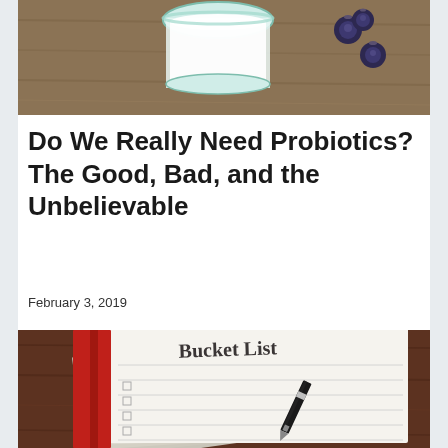[Figure (photo): Photo of a glass of milk with blueberries on a wooden surface]
Do We Really Need Probiotics? The Good, Bad, and the Unbelievable
February 3, 2019
[Figure (photo): Photo of a red-covered notebook with 'Bucket List' printed on an open page with checkboxes and a black pen resting on it, on a wooden table]